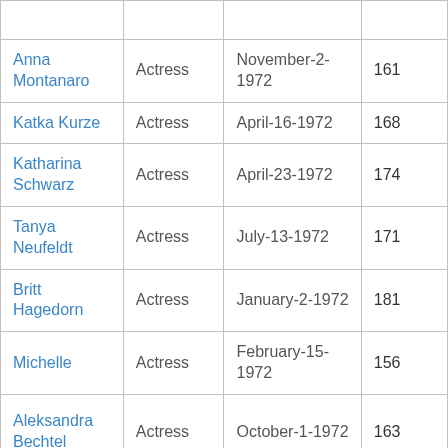| Name | Profession | Date | Number |
| --- | --- | --- | --- |
| Anna Montanaro | Actress | November-2-1972 | 161 |
| Katka Kurze | Actress | April-16-1972 | 168 |
| Katharina Schwarz | Actress | April-23-1972 | 174 |
| Tanya Neufeldt | Actress | July-13-1972 | 171 |
| Britt Hagedorn | Actress | January-2-1972 | 181 |
| Michelle | Actress | February-15-1972 | 156 |
| Aleksandra Bechtel | Actress | October-1-1972 | 163 |